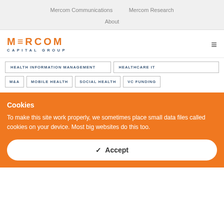Mercom Communications    Mercom Research    About
[Figure (logo): Mercom Capital Group logo with orange MERCOM text and blue CAPITAL GROUP subtitle]
HEALTH INFORMATION MANAGEMENT
HEALTHCARE IT
M&A
MOBILE HEALTH
SOCIAL HEALTH
VC FUNDING
Cookies
To make this site work properly, we sometimes place small data files called cookies on your device. Most big websites do this too.
✓ Accept